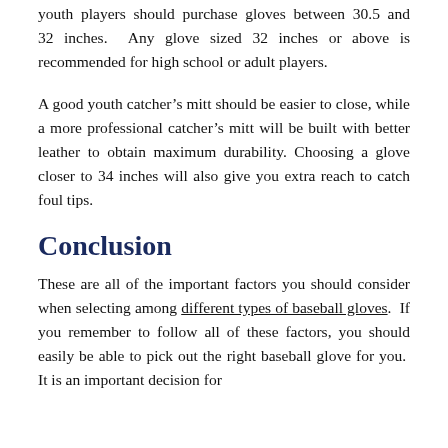glove size range from 30.5 inches if a smaller, more youth players should purchase gloves between 30.5 and 32 inches. Any glove sized 32 inches or above is recommended for high school or adult players.
A good youth catcher's mitt should be easier to close, while a more professional catcher's mitt will be built with better leather to obtain maximum durability. Choosing a glove closer to 34 inches will also give you extra reach to catch foul tips.
Conclusion
These are all of the important factors you should consider when selecting among different types of baseball gloves. If you remember to follow all of these factors, you should easily be able to pick out the right baseball glove for you. It is an important decision for